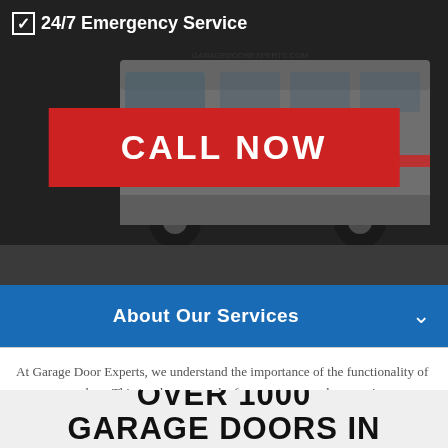☑ 24/7 Emergency Service
CALL NOW
About Our Services
At Garage Door Experts, we understand the importance of the functionality of your garage door.  This is why we are the foremost garage door service company in Covington.  Our highly trained, experienced staff of technicians are skilled and proficient in all makes and models of commercial and residential garage doors.  Along with our knowledge comes affordability and we work around the clock should you need emergency garage door repair in
OVER 1000 GARAGE DOORS IN